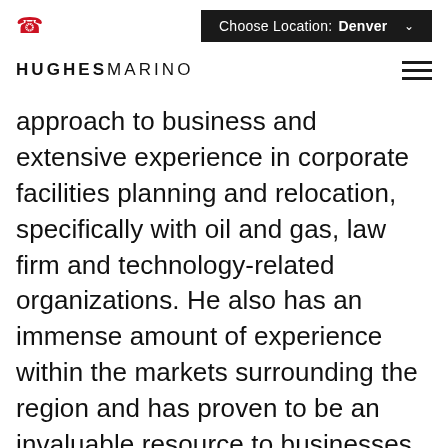Choose Location: Denver
HUGHESMARINO
approach to business and extensive experience in corporate facilities planning and relocation, specifically with oil and gas, law firm and technology-related organizations. He also has an immense amount of experience within the markets surrounding the region and has proven to be an invaluable resource to businesses across Denver.